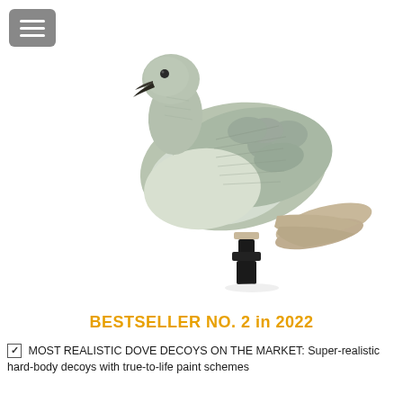[Figure (photo): A gray hard-body dove decoy mounted on a black stake/pole connector, shown in profile against a white background. The decoy is highly detailed with feather texture and realistic coloring.]
BESTSELLER NO. 2 in 2022
MOST REALISTIC DOVE DECOYS ON THE MARKET: Super-realistic hard-body decoys with true-to-life paint schemes